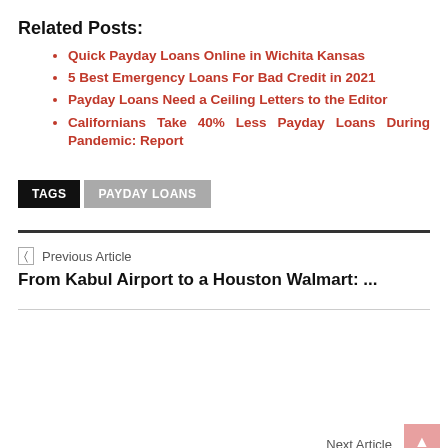Related Posts:
Quick Payday Loans Online in Wichita Kansas
5 Best Emergency Loans For Bad Credit in 2021
Payday Loans Need a Ceiling Letters to the Editor
Californians Take 40% Less Payday Loans During Pandemic: Report
TAGS  PAYDAY LOANS
◁  Previous Article
From Kabul Airport to a Houston Walmart: ...
Next Article